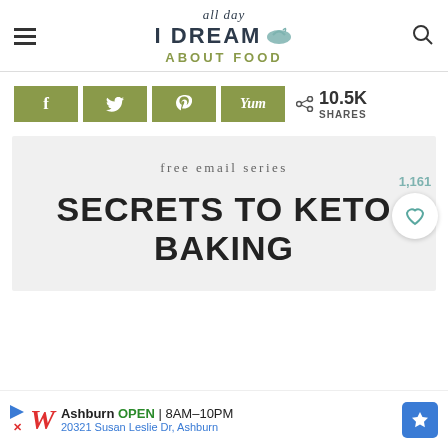all day I DREAM ABOUT FOOD
[Figure (infographic): Social share buttons: Facebook, Twitter, Pinterest, Yum - with 10.5K SHARES count]
[Figure (infographic): Gray box with 'free email series' and 'SECRETS TO KETO BAKING' heading, with wishlist button showing 1,161]
[Figure (infographic): Walgreens advertisement: Ashburn OPEN 8AM-10PM, 20321 Susan Leslie Dr, Ashburn]